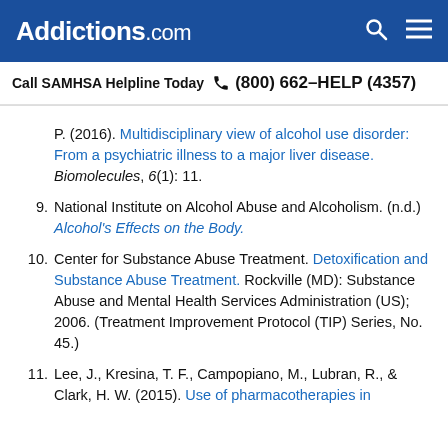Addictions.com
Call SAMHSA Helpline Today  (800) 662-HELP (4357)
P. (2016). Multidisciplinary view of alcohol use disorder: From a psychiatric illness to a major liver disease. Biomolecules, 6(1): 11.
9. National Institute on Alcohol Abuse and Alcoholism. (n.d.) Alcohol's Effects on the Body.
10. Center for Substance Abuse Treatment. Detoxification and Substance Abuse Treatment. Rockville (MD): Substance Abuse and Mental Health Services Administration (US); 2006. (Treatment Improvement Protocol (TIP) Series, No. 45.)
11. Lee, J., Kresina, T. F., Campopiano, M., Lubran, R., & Clark, H. W. (2015). Use of pharmacotherapies in